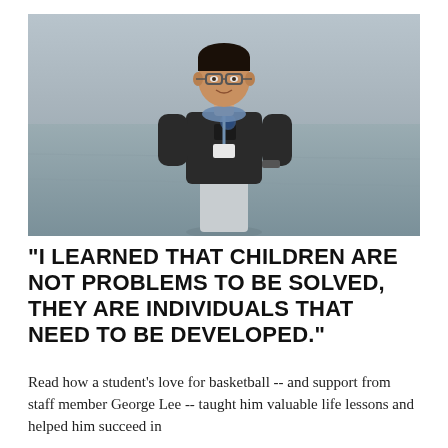[Figure (photo): A young man wearing a black t-shirt with a logo, glasses, and a blue bandana/neck gaiter around his neck, standing outdoors on a paved or dirt surface with a blurred background.]
"I LEARNED THAT CHILDREN ARE NOT PROBLEMS TO BE SOLVED, THEY ARE INDIVIDUALS THAT NEED TO BE DEVELOPED."
Read how a student's love for basketball -- and support from staff member George Lee -- taught him valuable life lessons and helped him succeed in